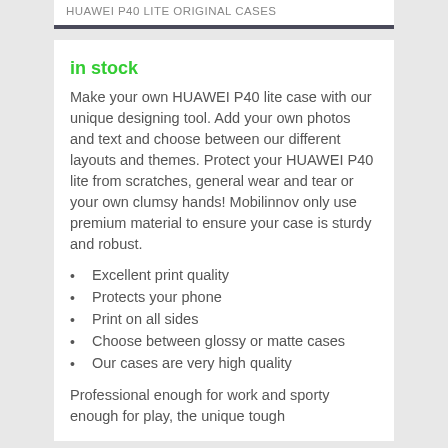HUAWEI P40 LITE ORIGINAL CASES
in stock
Make your own HUAWEI P40 lite case with our unique designing tool. Add your own photos and text and choose between our different layouts and themes. Protect your HUAWEI P40 lite from scratches, general wear and tear or your own clumsy hands! Mobilinnov only use premium material to ensure your case is sturdy and robust.
Excellent print quality
Protects your phone
Print on all sides
Choose between glossy or matte cases
Our cases are very high quality
Professional enough for work and sporty enough for play, the unique tough